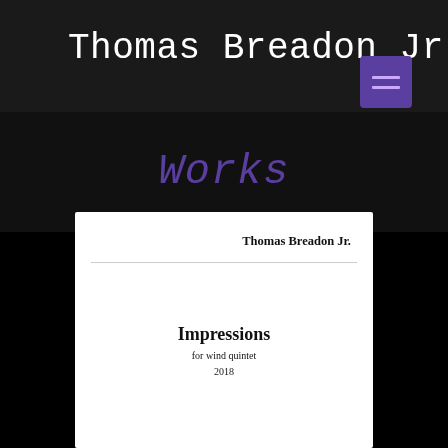Thomas Breadon Jr.
Works
[Figure (screenshot): Sheet music title page preview showing 'Impressions for wind quintet 2018' by Thomas Breadon Jr.]